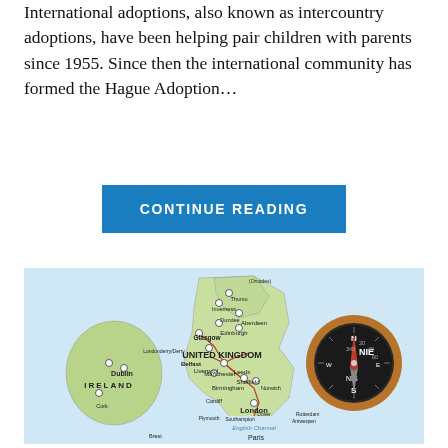International adoptions, also known as intercountry adoptions, have been helping pair children with parents since 1955. Since then the international community has formed the Hague Adoption…
CONTINUE READING
[Figure (map): A photo showing a map of the United Kingdom and surrounding regions (Ireland, France, Belgium) with city labels including London, Dublin, Manchester, Birmingham, Liverpool, Edinburgh, Glasgow, Belfast, Cardiff, etc., overlaid with a wooden compass pointing north.]